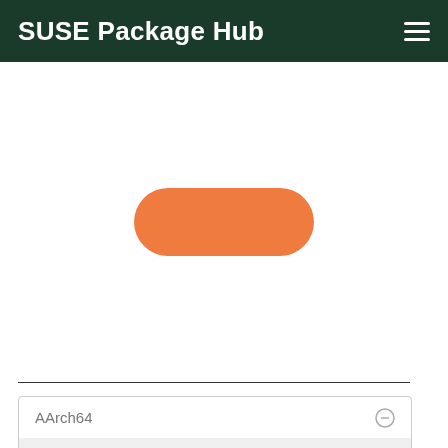SUSE Package Hub
[Figure (other): Orange pill/capsule shaped loading spinner indicator centered in the page]
| AArch64 | 🚫 |
| ppc64le | ✓ |
| s390n | 🚫 |